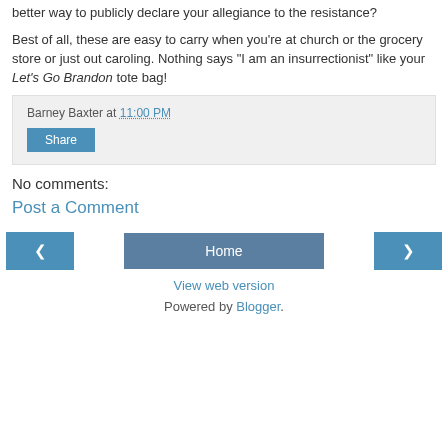better way to publicly declare your allegiance to the resistance?
Best of all, these are easy to carry when you're at church or the grocery store or just out caroling. Nothing says "I am an insurrectionist" like your Let's Go Brandon tote bag!
Barney Baxter at 11:00 PM
Share
No comments:
Post a Comment
‹
Home
›
View web version
Powered by Blogger.